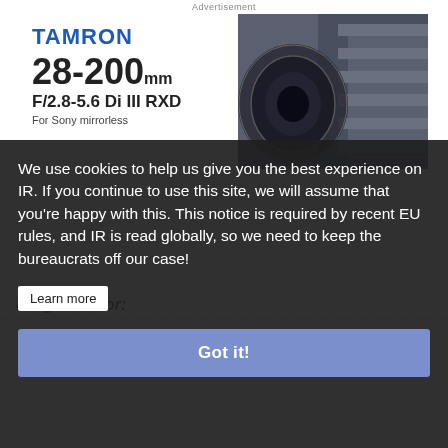[Figure (advertisement): Tamron 28-200mm F/2.8-5.6 Di III RXD For Sony mirrorless advertisement with lens product photo against dark staircase background]
We use cookies to help us give you the best experience on IR. If you continue to use this site, we will assume that you're happy with this. This notice is required by recent EU rules, and IR is read globally, so we need to keep the bureaucrats off our case!
Learn more
Got it!
Image Sensor:
| Sensor Type: | CMOS |
| --- | --- |
| Sensor Type: | CMOS |